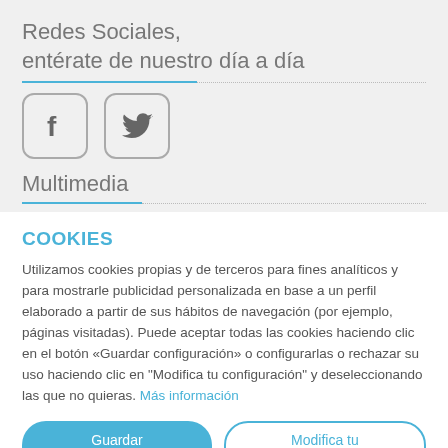Redes Sociales, entérate de nuestro día a día
[Figure (illustration): Facebook and Twitter social media icons in rounded square boxes]
Multimedia
COOKIES
Utilizamos cookies propias y de terceros para fines analíticos y para mostrarle publicidad personalizada en base a un perfil elaborado a partir de sus hábitos de navegación (por ejemplo, páginas visitadas). Puede aceptar todas las cookies haciendo clic en el botón «Guardar configuración» o configurarlas o rechazar su uso haciendo clic en "Modifica tu configuración" y deseleccionando las que no quieras. Más información
Guardar configuración
Modifica tu configuración